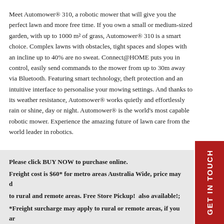Meet Automower® 310, a robotic mower that will give you the perfect lawn and more free time. If you own a small or medium-sized garden, with up to 1000 m² of grass, Automower® 310 is a smart choice. Complex lawns with obstacles, tight spaces and slopes with an incline up to 40% are no sweat. Connect@HOME puts you in control, easily send commands to the mower from up to 30m away via Bluetooth. Featuring smart technology, theft protection and an intuitive interface to personalise your mowing settings. And thanks to its weather resistance, Automower® works quietly and effortlessly rain or shine, day or night. Automower® is the world's most capable robotic mower. Experience the amazing future of lawn care from the world leader in robotics.
Please click BUY NOW to purchase online. Freight cost is $60* for metro areas Australia Wide, price may differ to rural and remote areas. Free Store Pickup!  also available!; *Freight surcharge may apply to rural or remote areas, if you are...